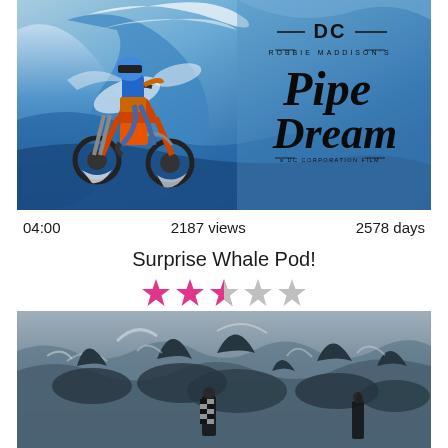[Figure (photo): Motocross rider on a dirt bike riding through/over a large ocean wave. DC Shoes logo and 'Robbie Maddison's Pipe Dream' title overlay on the right side. Blue ocean wave background.]
04:00    2187 views    2578 days
Surprise Whale Pod!
[Figure (photo): Aerial or close-up view of a group of whales/large marine animals in choppy grey ocean water with two people visible among them.]